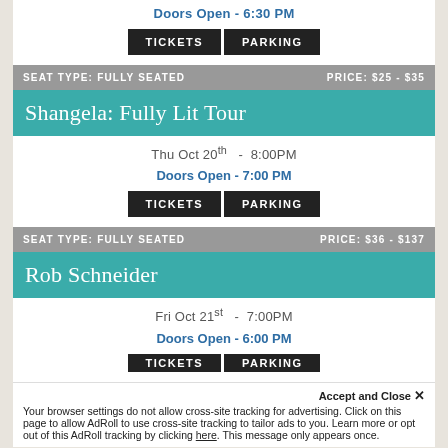Doors Open - 6:30 PM
TICKETS  PARKING
SEAT TYPE: FULLY SEATED   PRICE: $25 - $35
Shangela: Fully Lit Tour
Thu Oct 20th  -  8:00PM
Doors Open - 7:00 PM
TICKETS  PARKING
SEAT TYPE: FULLY SEATED   PRICE: $36 - $137
Rob Schneider
Fri Oct 21st  -  7:00PM
Doors Open - 6:00 PM
TICKETS  PARKING
Accept and Close ×
Your browser settings do not allow cross-site tracking for advertising. Click on this page to allow AdRoll to use cross-site tracking to tailor ads to you. Learn more or opt out of this AdRoll tracking by clicking here. This message only appears once.